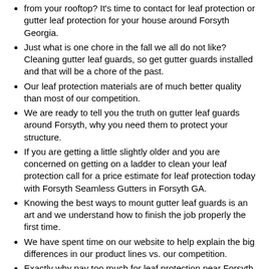from your rooftop? It's time to contact for leaf protection or gutter leaf protection for your house around Forsyth Georgia.
Just what is one chore in the fall we all do not like? Cleaning gutter leaf guards, so get gutter guards installed and that will be a chore of the past.
Our leaf protection materials are of much better quality than most of our competition.
We are ready to tell you the truth on gutter leaf guards around Forsyth, why you need them to protect your structure.
If you are getting a little slightly older and you are concerned on getting on a ladder to clean your leaf protection call for a price estimate for leaf protection today with Forsyth Seamless Gutters in Forsyth GA.
Knowing the best ways to mount gutter leaf guards is an art and we understand how to finish the job properly the first time.
We have spent time on our website to help explain the big differences in our product lines vs. our competition.
Exactly why pay too much for leaf protection near Forsyth Georgia? Get a price quote for leaf protection install near Forsyth Georgia.
Why are leaf protection important for your Forsyth, GA home